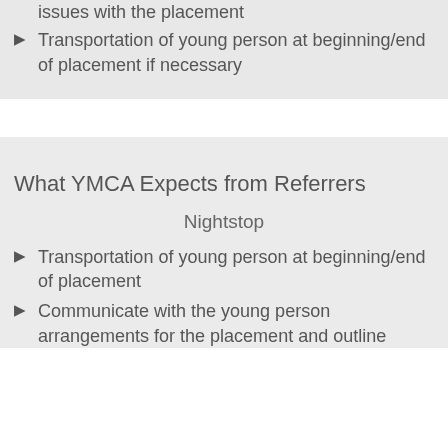issues with the placement
Transportation of young person at beginning/end of placement if necessary
What YMCA Expects from Referrers
Nightstop
Transportation of young person at beginning/end of placement
Communicate with the young person arrangements for the placement and outline